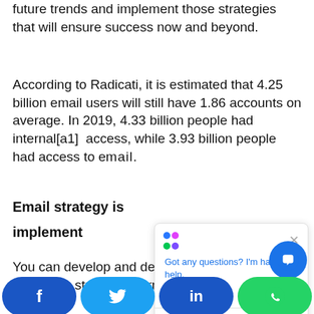future trends and implement those strategies that will ensure success now and beyond.
According to Radicati, it is estimated that 4.25 billion email users will still have 1.86 accounts on average. In 2019, 4.33 billion people had internal[a1]  access, while 3.93 billion people had access to email.
Email strategy is [partial] implement
You can develop and deploy an email marketing strategy overnight. It may [partial text cut off]
[Figure (screenshot): Chat popup overlay with colorful dot icon, close X button, and text 'Got any questions? I'm happy to help.']
[Figure (screenshot): Blue circular chat bubble button in bottom right]
[Figure (infographic): Social share bar at bottom with Facebook (dark blue), Twitter (light blue), LinkedIn (dark blue), WhatsApp (green) buttons]